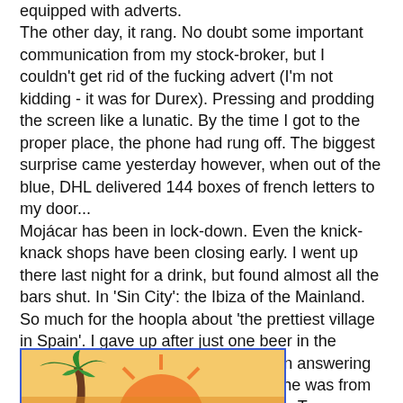equipped with adverts. The other day, it rang. No doubt some important communication from my stock-broker, but I couldn't get rid of the fucking advert (I'm not kidding - it was for Durex). Pressing and prodding the screen like a lunatic. By the time I got to the proper place, the phone had rung off. The biggest surprise came yesterday however, when out of the blue, DHL delivered 144 boxes of french letters to my door... Mojácar has been in lock-down. Even the knick-knack shops have been closing early. I went up there last night for a drink, but found almost all the bars shut. In 'Sin City': the Ibiza of the Mainland. So much for the hoopla about 'the prettiest village in Spain'. I gave up after just one beer in the company of a barman who insisted on answering my Spanish with English (turned out he was from Cornwall), so drove down to next-door Turre (surely the ugliest village in Spain) which was - as always, heaving. I think that not being a tourist village (no beach, no hotels, no views) makes it concentrate more on residential tourism (as the Spanish authorities blandly refer to us foreign settlers). A good dinner in a rather full restaurant. I even saw a few people I knew.
[Figure (illustration): Partial view of an illustration showing a stylized sun and palm tree on a warm yellow/orange background, framed by a blue border]